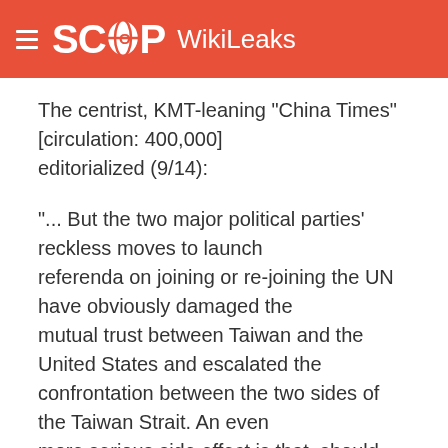SCOOP WikiLeaks
The centrist, KMT-leaning "China Times" [circulation: 400,000] editorialized (9/14):
"... But the two major political parties' reckless moves to launch referenda on joining or re-joining the UN have obviously damaged the mutual trust between Taiwan and the United States and escalated the confrontation between the two sides of the Taiwan Strait. An even more serious side effect is that, should the two